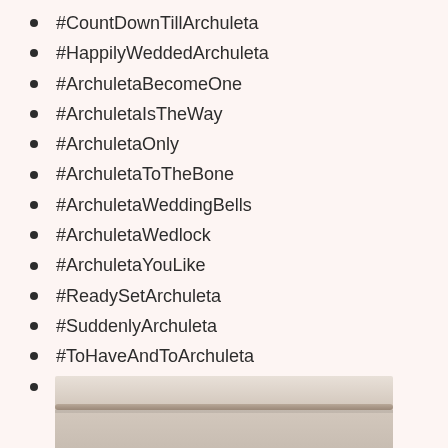#CountDownTillArchuleta
#HappilyWeddedArchuleta
#ArchuletaBecomeOne
#ArchuletaIsTheWay
#ArchuletaOnly
#ArchuletaToTheBone
#ArchuletaWeddingBells
#ArchuletaWedlock
#ArchuletaYouLike
#ReadySetArchuleta
#SuddenlyArchuleta
#ToHaveAndToArchuleta
#TwoArchuletasInAPod
[Figure (photo): A photo of a wooden stick or branch resting horizontally, photographed from above on a light background.]